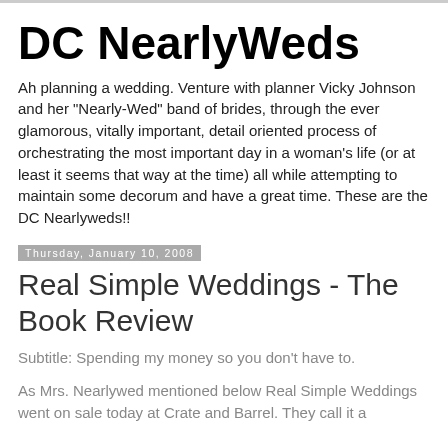DC NearlyWeds
Ah planning a wedding. Venture with planner Vicky Johnson and her "Nearly-Wed" band of brides, through the ever glamorous, vitally important, detail oriented process of orchestrating the most important day in a woman's life (or at least it seems that way at the time) all while attempting to maintain some decorum and have a great time. These are the DC Nearlyweds!!
Thursday, January 10, 2008
Real Simple Weddings - The Book Review
Subtitle: Spending my money so you don't have to.
As Mrs. Nearlywed mentioned below Real Simple Weddings went on sale today at Crate and Barrel. They call it a